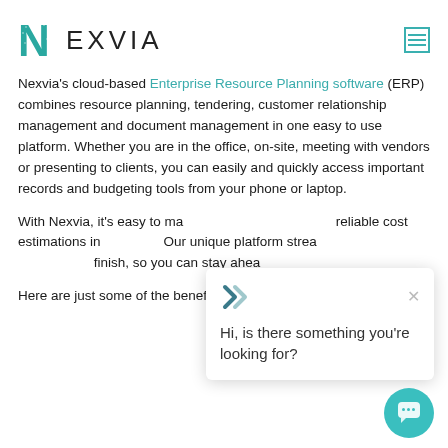[Figure (logo): Nexvia logo with teal stylized N and text NEXVIA]
Nexvia's cloud-based Enterprise Resource Planning software (ERP) combines resource planning, tendering, customer relationship management and document management in one easy to use platform. Whether you are in the office, on-site, meeting with vendors or presenting to clients, you can easily and quickly access important records and budgeting tools from your phone or laptop.
With Nexvia, it's easy to ma... reliable cost estimations in... Our unique platform strea... finish, so you can stay ahea...
Here are just some of the benefits that Nexvia can brin... firm:
[Figure (screenshot): Chat widget popup with Nexvia X logo and message: Hi, is there something you're looking for?]